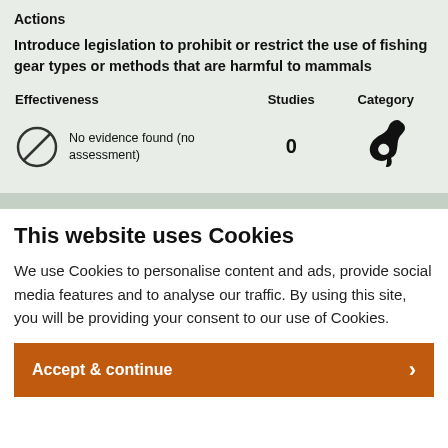Actions
Introduce legislation to prohibit or restrict the use of fishing gear types or methods that are harmful to mammals
| Effectiveness | Studies | Category |
| --- | --- | --- |
| No evidence found (no assessment) | 0 | [dolphin icon] |
This website uses Cookies
We use Cookies to personalise content and ads, provide social media features and to analyse our traffic. By using this site, you will be providing your consent to our use of Cookies.
Accept & continue